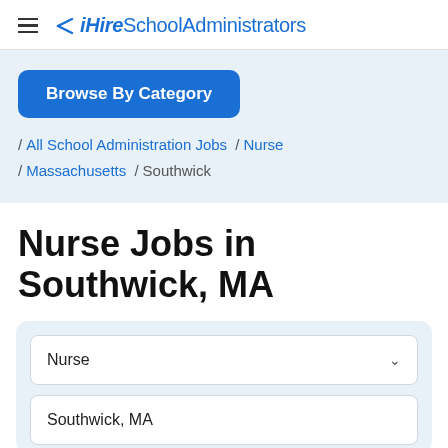iHireSchoolAdministrators
Browse By Category
/ All School Administration Jobs / Nurse / Massachusetts / Southwick
Nurse Jobs in Southwick, MA
Nurse
Southwick, MA